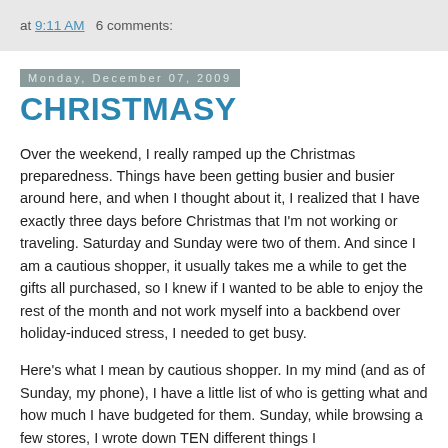at 9:11 AM   6 comments:
Monday, December 07, 2009
CHRISTMASY
Over the weekend, I really ramped up the Christmas preparedness. Things have been getting busier and busier around here, and when I thought about it, I realized that I have exactly three days before Christmas that I'm not working or traveling. Saturday and Sunday were two of them. And since I am a cautious shopper, it usually takes me a while to get the gifts all purchased, so I knew if I wanted to be able to enjoy the rest of the month and not work myself into a backbend over holiday-induced stress, I needed to get busy.
Here's what I mean by cautious shopper. In my mind (and as of Sunday, my phone), I have a little list of who is getting what and how much I have budgeted for them. Sunday, while browsing a few stores, I wrote down TEN different things I